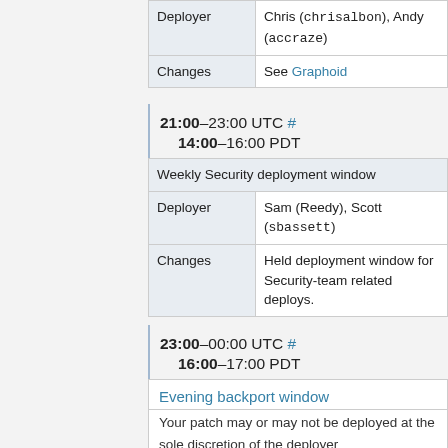|  |  |
| --- | --- |
| Deployer | Chris (chrisalbon), Andy (accraze) |
| Changes | See Graphoid |
21:00–23:00 UTC # 14:00–16:00 PDT
| Weekly Security deployment window |
| --- |
| Deployer | Sam (Reedy), Scott (sbassett) |
| Changes | Held deployment window for Security-team related deploys. |
23:00–00:00 UTC # 16:00–17:00 PDT
| Evening backport window |
| --- |
| Your patch may or may not be deployed at the sole discretion of the deployer |
| (Max 6 patches) |